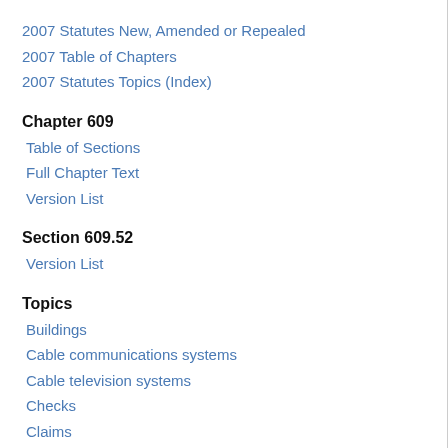2007 Statutes New, Amended or Repealed
2007 Table of Chapters
2007 Statutes Topics (Index)
Chapter 609
Table of Sections
Full Chapter Text
Version List
Section 609.52
Version List
Topics
Buildings
Cable communications systems
Cable television systems
Checks
Claims